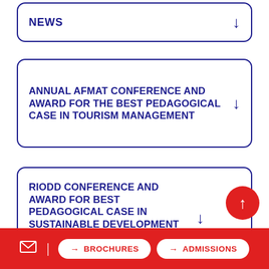NEWS
ANNUAL AFMAT CONFERENCE AND AWARD FOR THE BEST PEDAGOGICAL CASE IN TOURISM MANAGEMENT
RIODD CONFERENCE AND AWARD FOR BEST PEDAGOGICAL CASE IN SUSTAINABLE DEVELOPMENT AND CORPORATE SOCIAL RESPONSIBILITY
BROCHURES | ADMISSIONS